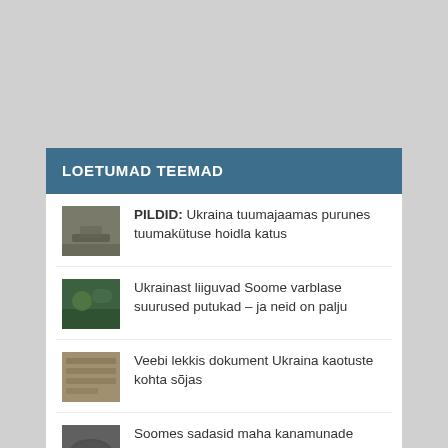LOETUMAD TEEMAD
PILDID: Ukraina tuumajaamas purunes tuumakütuse hoidla katus
Ukrainast liiguvad Soome varblase suurused putukad – ja neid on palju
Veebi lekkis dokument Ukraina kaotuste kohta sõjas
Soomes sadasid maha kanamunade suurused raheterad, mis rikkusid autosid